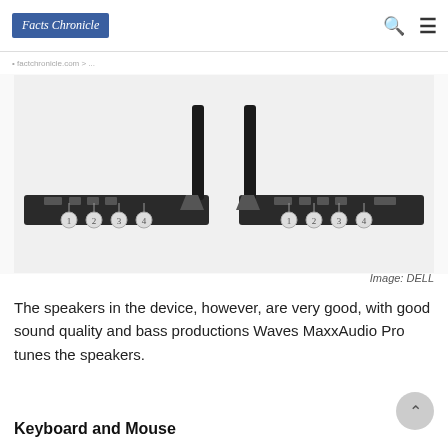Facts Chronicle
[Figure (photo): Two Dell laptop bases shown side by side from the rear/bottom angle, open like a book with screens extended vertically, showing ports and hinge area. Image credit: DELL]
Image: DELL
The speakers in the device, however, are very good, with good sound quality and bass productions Waves MaxxAudio Pro tunes the speakers.
Keyboard and Mouse